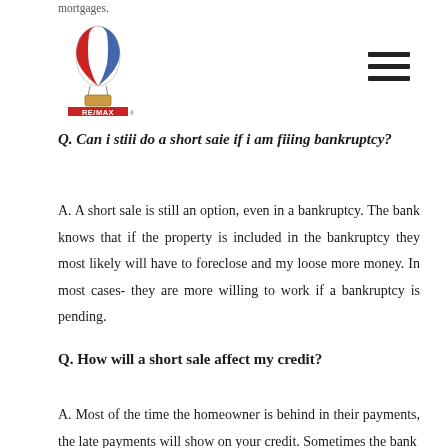mortgages.
[Figure (logo): RE/MAX logo with hot air balloon in red, white and blue, with 'RE/MAX' text and registered trademark symbol]
Q. Can I stiii do a short saie if I am fiiing bankruptcy?
A. A short sale is still an option, even in a bankruptcy. The bank knows that if the property is included in the bankruptcy they most likely will have to foreclose and my loose more money. In most cases- they are more willing to work if a bankruptcy is pending.
Q. How will a short sale affect my credit?
A. Most of the time the homeowner is behind in their payments, the late payments will show on your credit. Sometimes the bank